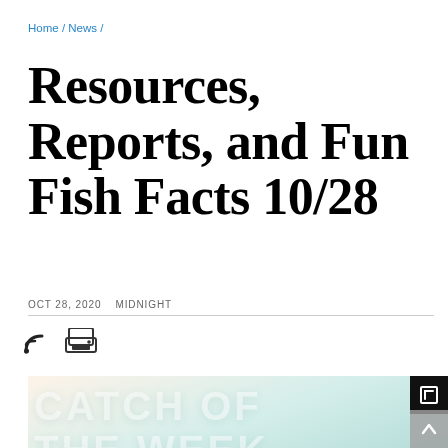Home / News /
Resources, Reports, and Fun Fish Facts 10/28
OCT 28, 2020  MIDNIGHT
[Figure (illustration): Partial image showing stylized text 'CATCH OF THE WEEK' in large white distressed lettering on a light teal/mint background, with a small expand/fullscreen icon button in the top-right corner and a scroll-to-top arrow button in bottom-right]